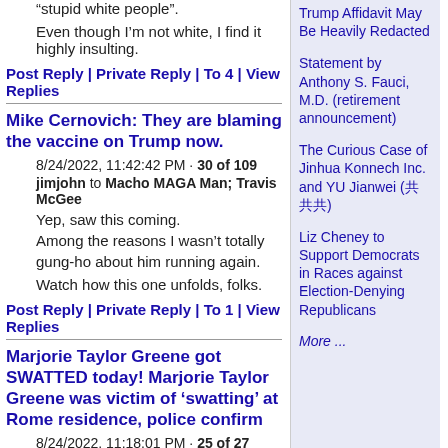“stupid white people”.
Even though I’m not white, I find it highly insulting.
Post Reply | Private Reply | To 4 | View Replies
Mike Cernovich: They are blaming the vaccine on Trump now.
8/24/2022, 11:42:42 PM · 30 of 109
jimjohn to Macho MAGA Man; Travis McGee
Yep, saw this coming.
Among the reasons I wasn’t totally gung-ho about him running again.
Watch how this one unfolds, folks.
Post Reply | Private Reply | To 1 | View Replies
Marjorie Taylor Greene got SWATTED today! Marjorie Taylor Greene was victim of ‘swatting’ at Rome residence, police confirm
8/24/2022, 11:18:01 PM · 25 of 27
jimjohn to 2CAVTrooper
Trump Affidavit May Be Heavily Redacted
Statement by Anthony S. Fauci, M.D. (retirement announcement)
The Curious Case of Jinhua Konnech Inc. and YU Jianwei (共共共)
Liz Cheney to Support Democrats in Races against Election-Denying Republicans
More ...